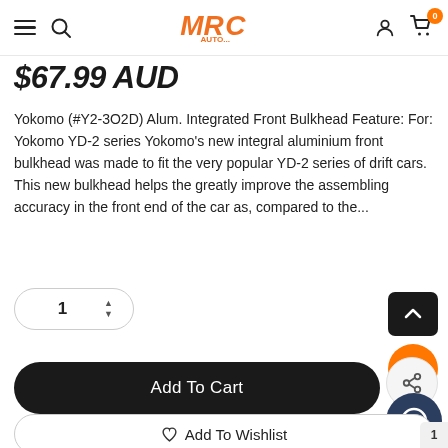MRC (logo) — navigation bar with hamburger menu, search, user account, and cart (0 items)
$67.99 AUD
Yokomo (#Y2-3O2D) Alum. Integrated Front Bulkhead Feature: For: Yokomo YD-2 series Yokomo’s new integral aluminium front bulkhead was made to fit the very popular YD-2 series of drift cars. This new bulkhead helps the greatly improve the assembling accuracy in the front end of the car as, compared to the…
1 (quantity selector)
Add To Cart
Add To Wishlist